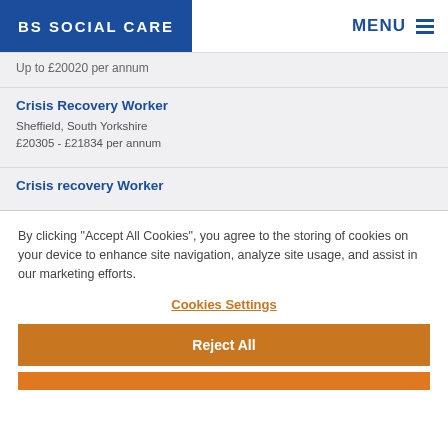BS SOCIAL CARE | MENU
Up to £20020 per annum
Crisis Recovery Worker
Sheffield, South Yorkshire
£20305 - £21834 per annum
Crisis recovery Worker
By clicking “Accept All Cookies”, you agree to the storing of cookies on your device to enhance site navigation, analyze site usage, and assist in our marketing efforts.
Cookies Settings
Reject All